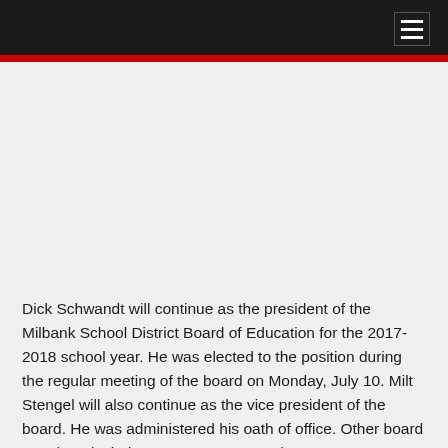Dick Schwandt will continue as the president of the Milbank School District Board of Education for the 2017-2018 school year. He was elected to the position during the regular meeting of the board on Monday, July 10. Milt Stengel will also continue as the vice president of the board. He was administered his oath of office. Other board members include Tracy Upton, Amy Thue,